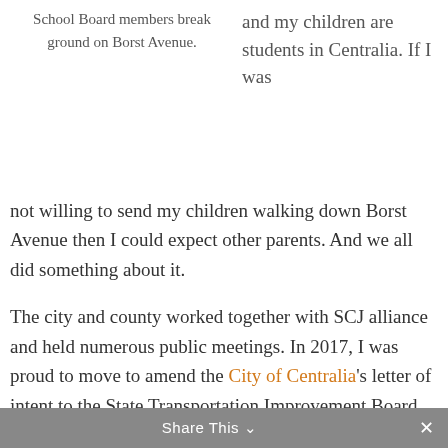School Board members break ground on Borst Avenue.
and my children are students in Centralia. If I was not willing to send my children walking down Borst Avenue then I could expect other parents. And we all did something about it.

The city and county worked together with SCJ alliance and held numerous public meetings. In 2017, I was proud to move to amend the City of Centralia's letter of intent to the State Transportation Improvement Board and increase our commitment (as well as likelihood) of securing the necessary funds for the Safety Improvement Project to 30% match.
Share This